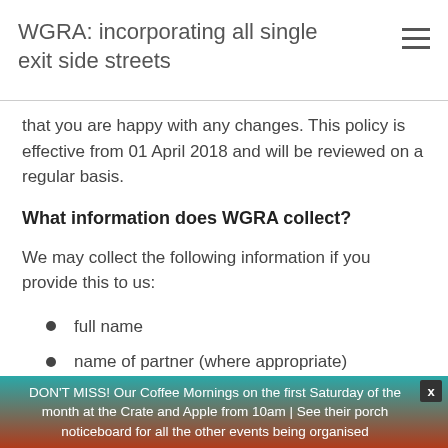WGRA: incorporating all single exit side streets
that you are happy with any changes. This policy is effective from 01 April 2018 and will be reviewed on a regular basis.
What information does WGRA collect?
We may collect the following information if you provide this to us:
full name
name of partner (where appropriate)
email address
telephone number
DON'T MISS! Our Coffee Mornings on the first Saturday of the month at the Crate and Apple from 10am | See their porch noticeboard for all the other events being organised